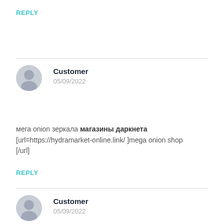REPLY
Customer
05/09/2022
мега onion зеркала магазины даркнета [url=https://hydramarket-online.link/ ]mega onion shop [/url]
REPLY
Customer
05/09/2022